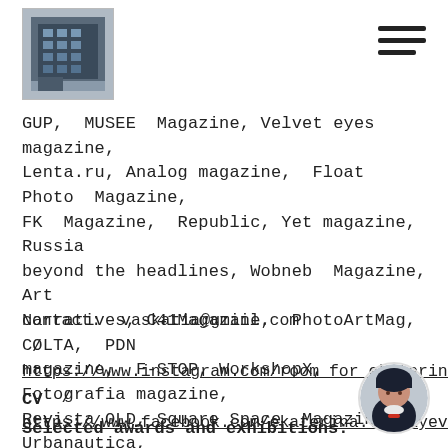[Figure (photo): Small logo image of a dark building exterior]
[Figure (illustration): Hamburger menu icon (three horizontal lines)]
GUP, MUSEE Magazine, Velvet eyes magazine, Lenta.ru, Analog magazine, Float Photo Magazine, FK Magazine, Republic, Yet magazine, Russia beyond the headlines, Wobneb Magazine, Art Narratives, C41Magazine, PhotoArtMag, COLTA, PDN magazine, F-STOP, WorkshopX, Fotografia magazine, Revista OLD, Square Space Magazine, Urbanautica, LensCulture, “Loeil de la photographie” magazine, Deep sleep, Civilization and so on.
contact: vaskatia@gmail.com / https://www.instagram.com/room_for_ekaterina/ / https://www.facebook.com/ekaterina.vasilyeva.14
CV
[Figure (photo): Circular profile photo of a person in dark winter clothing]
Selected awards and exhibitions: